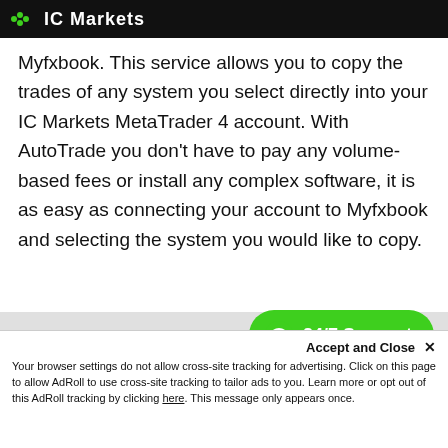IC Markets
Myfxbook. This service allows you to copy the trades of any system you select directly into your IC Markets MetaTrader 4 account. With AutoTrade you don't have to pay any volume-based fees or install any complex software, it is as easy as connecting your account to Myfxbook and selecting the system you would like to copy.
[Figure (other): Green 24/7 Support chat button with speech bubble icon]
Accept and Close ✕
Your browser settings do not allow cross-site tracking for advertising. Click on this page to allow AdRoll to use cross-site tracking to tailor ads to you. Learn more or opt out of this AdRoll tracking by clicking here. This message only appears once.